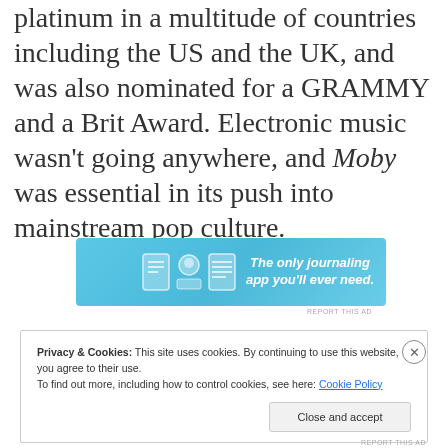platinum in a multitude of countries including the US and the UK, and was also nominated for a GRAMMY and a Brit Award. Electronic music wasn't going anywhere, and Moby was essential in its push into mainstream pop culture.
[Figure (other): Advertisement banner for a journaling app showing icons and text 'The only journaling app you'll ever need.']
REPORT THIS AD
Privacy & Cookies: This site uses cookies. By continuing to use this website, you agree to their use. To find out more, including how to control cookies, see here: Cookie Policy
Close and accept